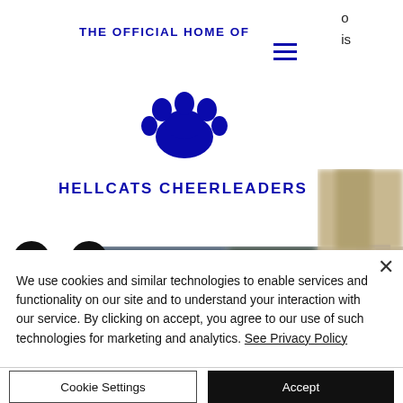THE OFFICIAL HOME OF
[Figure (logo): Blue paw print logo for Hellcats Cheerleaders]
HELLCATS CHEERLEADERS
[Figure (photo): Blurred hero banner image showing cheerleaders in background]
We use cookies and similar technologies to enable services and functionality on our site and to understand your interaction with our service. By clicking on accept, you agree to our use of such technologies for marketing and analytics. See Privacy Policy